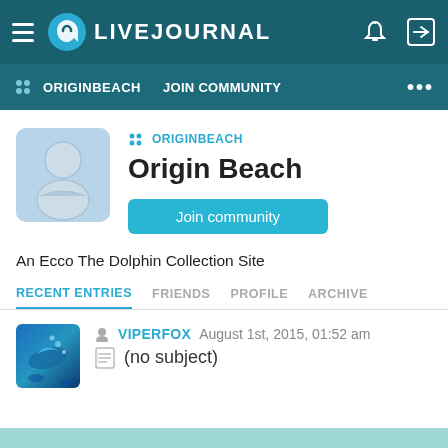LIVEJOURNAL
ORIGINBEACH   JOIN COMMUNITY
[Figure (illustration): Default user avatar placeholder with silhouette on blue-grey background]
ORIGINBEACH
Origin Beach
Join community
An Ecco The Dolphin Collection Site
RECENT ENTRIES   FRIENDS   PROFILE   ARCHIVE
[Figure (photo): Thumbnail image for journal entry showing colorful underwater dolphin scene]
VIPERFOX   August 1st, 2015, 01:52 am
(no subject)